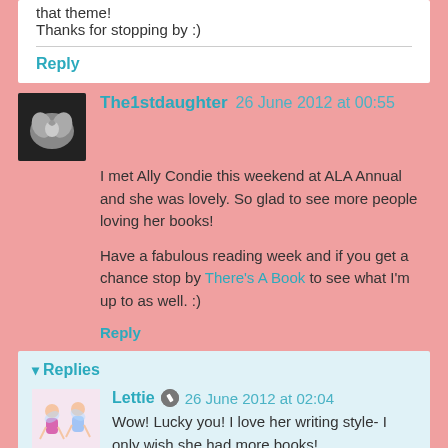that theme!
Thanks for stopping by :)
Reply
The1stdaughter 26 June 2012 at 00:55
I met Ally Condie this weekend at ALA Annual and she was lovely. So glad to see more people loving her books!
Have a fabulous reading week and if you get a chance stop by There's A Book to see what I'm up to as well. :)
Reply
Replies
Lettie 26 June 2012 at 02:04
Wow! Lucky you! I love her writing style- I only wish she had more books!
Thank you for stopping by :)